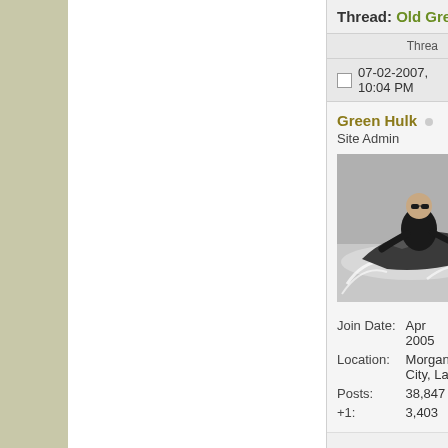Thread: Old Green Hulk
Thread
07-02-2007, 10:04 PM
Green Hulk
Site Admin
Join Date: Apr 2005
Location: Morgan City, La
Posts: 38,847
+1: 3,403
[Figure (photo): User avatar photo of a person riding a jet ski at speed on water, black and white/grayscale image]
| Join Date: | Apr 2005 |
| Location: | Morgan City, La |
| Posts: | 38,847 |
| +1: | 3,403 |